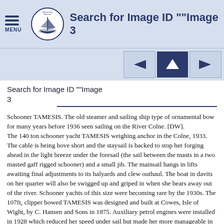Search for Image ID ""Image 3
[Figure (logo): Mersea Museum circular logo with sailing boat illustration]
Search for Image ID ""Image 3
Search for Image ID ""Image 3
Schooner TAMESIS. The old steamer and sailing ship type of ornamental bow for many years before 1936 seen sailing on the River Colne. [DW].
The 140 ton schooner yacht TAMESIS weighing anchor in the Colne, 1933. The cable is being hove short and the staysail is backed to stop her forging ahead in the light breeze under the foresail (the sail between the masts in a two masted gaff rigged schooner) and a small jib. The mainsail hangs in lifts awaiting final adjustments to its halyards and clew outhaul. The boat in davits on her quarter will also be swigged up and griped in when she bears away out of the river. Schooner yachts of this size were becoming rare by the 1930s. The 107ft, clipper bowed TAMESIS was designed and built at Cowes, Isle of Wight, by C. Hansen and Sons in 1875. Auxiliary petrol engines were installed in 1928 which reduced her speed under sail but made her more manageable in confined harbours such as Ramsgate or